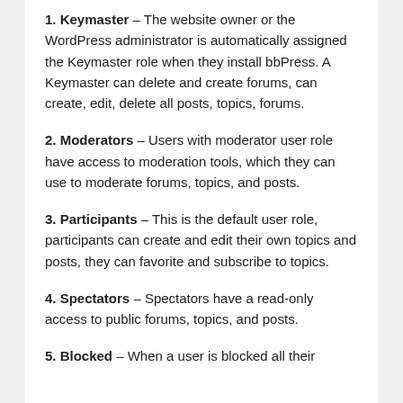1. Keymaster – The website owner or the WordPress administrator is automatically assigned the Keymaster role when they install bbPress. A Keymaster can delete and create forums, can create, edit, delete all posts, topics, forums.
2. Moderators – Users with moderator user role have access to moderation tools, which they can use to moderate forums, topics, and posts.
3. Participants – This is the default user role, participants can create and edit their own topics and posts, they can favorite and subscribe to topics.
4. Spectators – Spectators have a read-only access to public forums, topics, and posts.
5. Blocked – When a user is blocked all their